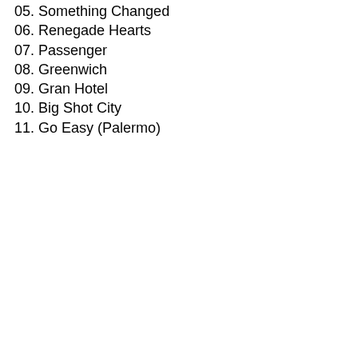05. Something Changed
06. Renegade Hearts
07. Passenger
08. Greenwich
09. Gran Hotel
10. Big Shot City
11. Go Easy (Palermo)